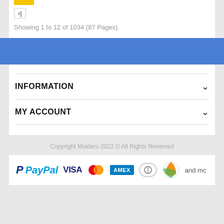Showing 1 to 12 of 1034 (87 Pages)
INFORMATION
MY ACCOUNT
Copyright Msideru 2022 © All Rights Reserved
[Figure (logo): Payment method logos: PayPal, VISA, Mastercard, AMEX, Diners Club, and more]